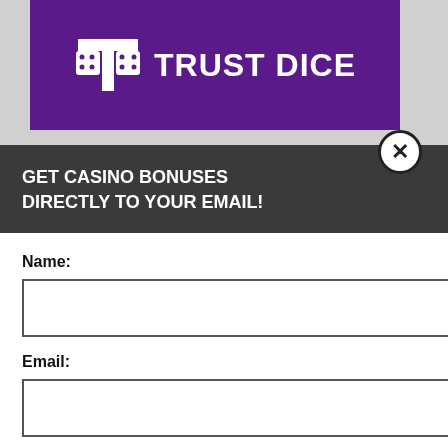[Figure (logo): Trust Dice logo on purple banner with dice icon and white text TRUST DICE]
O GIVES $30 FREE
s a exclusive $30 free chip no
n our
perience, we use Using this site, kie & privacy policy. nd get
signing
x and max cash out are 2
GET CASINO BONUSES DIRECTLY TO YOUR EMAIL!
Name:
Email:
Submit
By subscribing you are certifying that you have reviewed and accepted our updated Privacy and Cookie policy.